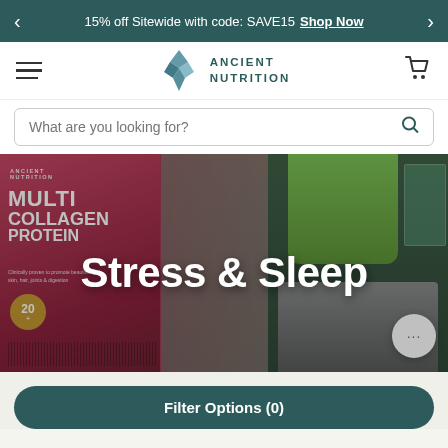15% off Sitewide with code: SAVE15 Shop Now
[Figure (logo): Ancient Nutrition logo with geometric diamond shape and brand name]
What are you looking for?
[Figure (photo): Hero image showing Ancient Nutrition Multi Collagen Protein container on left and green juice blender on right, with 'Stress & Sleep' text overlay]
Stress & Sleep
Filter Options (0)